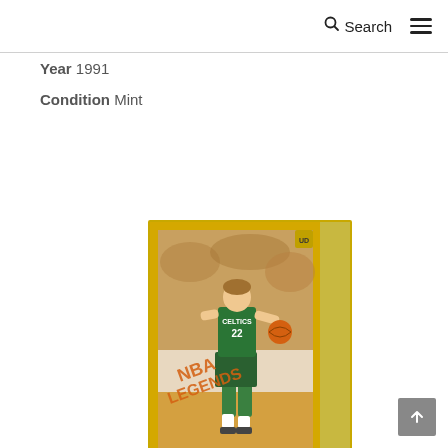Search ☰
Year 1991
Condition Mint
[Figure (photo): 1991 Upper Deck NBA basketball trading card featuring a Celtics player wearing jersey #22, dribbling the ball. The card has a gold/yellow border with 'CELTICS' text on the right side. Text on the card reads 'NBA Legends' in orange/gold lettering. The background shows a crowd in the arena.]